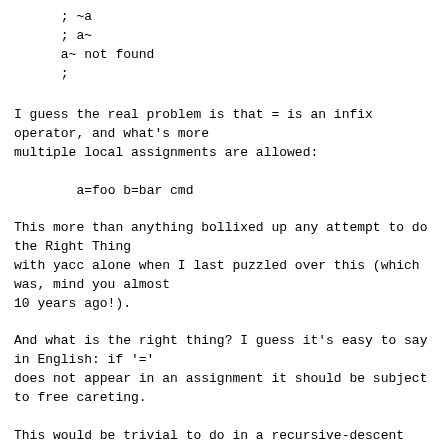; ~a
  ; a~
  a~ not found
  ;
I guess the real problem is that = is an infix operator, and what's more
multiple local assignments are allowed:
a=foo b=bar cmd
This more than anything bollixed up any attempt to do the Right Thing
with yacc alone when I last puzzled over this (which was, mind you almost
10 years ago!).
And what is the right thing? I guess it's easy to say in English: if '='
does not appear in an assignment it should be subject to free careting.
This would be trivial to do in a recursive-descent parser which could
communicate with the lexer, I'm unsure about how to accomplish it
with yacc.
I think there is enough historical precedent about the use of unquoted